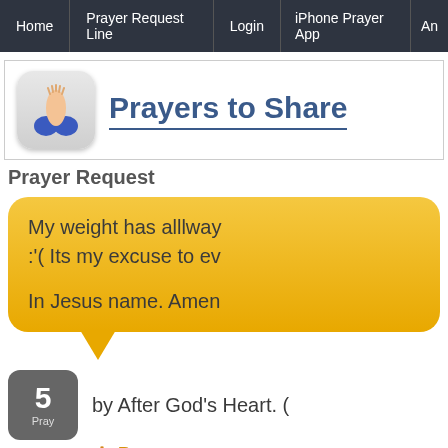Home | Prayer Request Line | Login | iPhone Prayer App | An...
[Figure (logo): Praying hands icon in a rounded square button]
Prayers to Share
Prayer Request
My weight has alllway... :'( Its my excuse to ev...

In Jesus name. Amen
5  by After God's Heart. (
Pray  🙏 Pray
5 people prayed for this